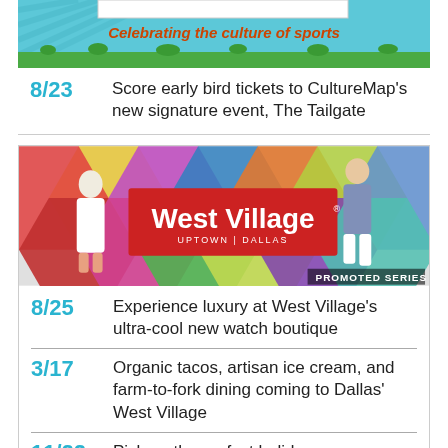[Figure (illustration): Top portion of a card showing a sports event banner with text 'Celebrating the culture of sports' on a cyan/teal background with grass]
8/23 Score early bird tickets to CultureMap's new signature event, The Tailgate
[Figure (photo): West Village Uptown Dallas promotional banner with two people posing in front of colorful geometric hexagon wall, large red West Village logo, 'PROMOTED SERIES' watermark]
8/25 Experience luxury at West Village's ultra-cool new watch boutique
3/17 Organic tacos, artisan ice cream, and farm-to-fork dining coming to Dallas' West Village
11/22 Pick up the perfect holiday